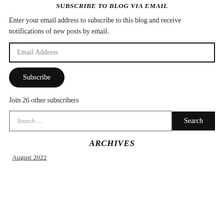SUBSCRIBE TO BLOG VIA EMAIL
Enter your email address to subscribe to this blog and receive notifications of new posts by email.
Email Address
Subscribe
Join 26 other subscribers
Search …
Search
ARCHIVES
August 2022